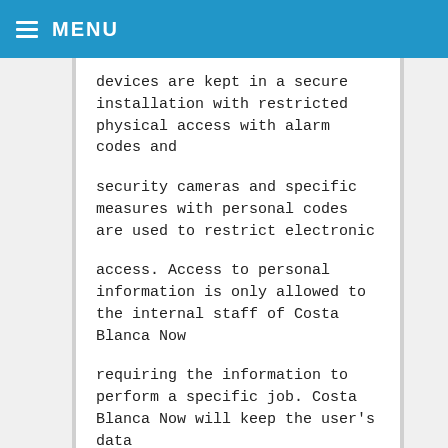MENU
devices are kept in a secure installation with restricted physical access with alarm codes and
security cameras and specific measures with personal codes are used to restrict electronic
access. Access to personal information is only allowed to the internal staff of Costa Blanca Now
requiring the information to perform a specific job. Costa Blanca Now will keep the user's data
safe thus cooperation with our security checks may be necessary